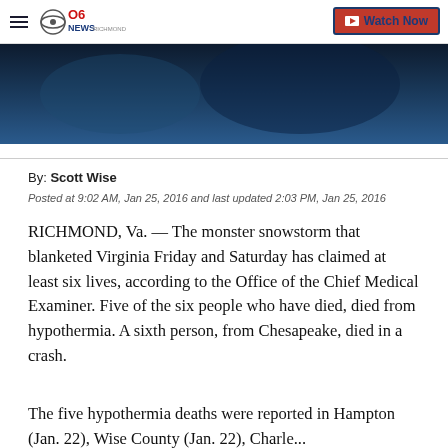CBS 6 News Richmond — Watch Now
[Figure (photo): Dark blue-toned news broadcast screenshot or weather photo background]
By: Scott Wise
Posted at 9:02 AM, Jan 25, 2016 and last updated 2:03 PM, Jan 25, 2016
RICHMOND, Va. — The monster snowstorm that blanketed Virginia Friday and Saturday has claimed at least six lives, according to the Office of the Chief Medical Examiner. Five of the six people who have died, died from hypothermia. A sixth person, from Chesapeake, died in a crash.
The five hypothermia deaths were reported in Hampton (Jan. 22), Wise County (Jan. 22), Charle...